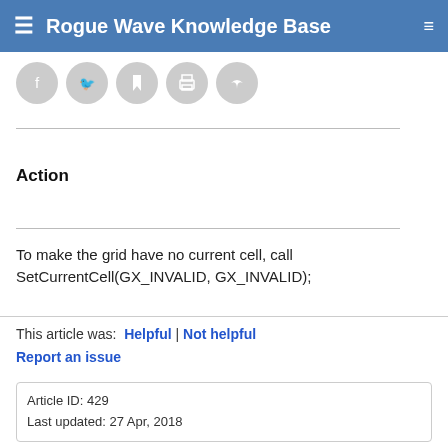Rogue Wave Knowledge Base
[Figure (illustration): Row of five circular social/action icon buttons (Facebook, Twitter, bookmark, print, share) in gray circles]
Action
To make the grid have no current cell, call SetCurrentCell(GX_INVALID, GX_INVALID);
This article was: Helpful | Not helpful
Report an issue
Article ID: 429
Last updated: 27 Apr, 2018